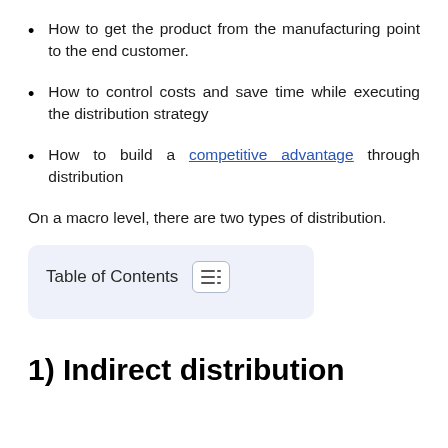How to get the product from the manufacturing point to the end customer.
How to control costs and save time while executing the distribution strategy
How to build a competitive advantage through distribution
On a macro level, there are two types of distribution.
Table of Contents
1) Indirect distribution